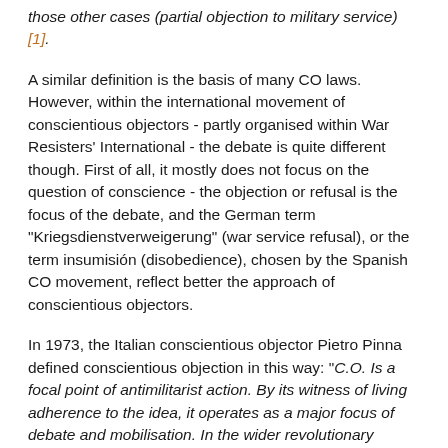those other cases (partial objection to military service) [1].
A similar definition is the basis of many CO laws. However, within the international movement of conscientious objectors - partly organised within War Resisters' International - the debate is quite different though. First of all, it mostly does not focus on the question of conscience - the objection or refusal is the focus of the debate, and the German term "Kriegsdienstverweigerung" (war service refusal), or the term insumisión (disobedience), chosen by the Spanish CO movement, reflect better the approach of conscientious objectors.
In 1973, the Italian conscientious objector Pietro Pinna defined conscientious objection in this way: "C.O. Is a focal point of antimilitarist action. By its witness of living adherence to the idea, it operates as a major focus of debate and mobilisation. In the wider revolutionary strategy, C.O. offers a fundamental indication, i.e. the assumption of responsibility, of autonomy and personal initiative; it serves as point of reference, as paradigm, for the extension of the concept of 'conscientious objection' in any